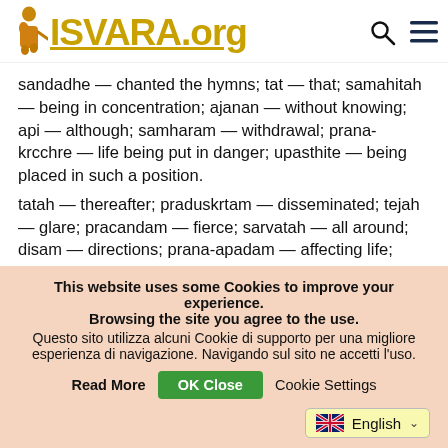ISVARA.org
sandadhe — chanted the hymns; tat — that; samahitah — being in concentration; ajanan — without knowing; api — although; samharam — withdrawal; prana-krcchre — life being put in danger; upasthite — being placed in such a position.
tatah — thereafter; praduskrtam — disseminated; tejah — glare; pracandam — fierce; sarvatah — all around; disam — directions; prana-apadam — affecting life;
This website uses some Cookies to improve your experience. Browsing the site you agree to the use.
Questo sito utilizza alcuni Cookie di supporto per una migliore esperienza di navigazione. Navigando sul sito ne accetti l'uso.
Read More   OK Close   Cookie Settings
English